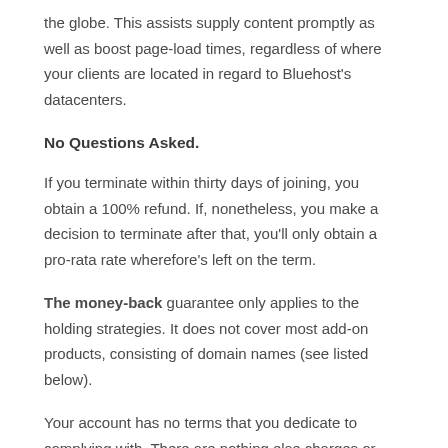the globe. This assists supply content promptly as well as boost page-load times, regardless of where your clients are located in regard to Bluehost's datacenters.
No Questions Asked.
If you terminate within thirty days of joining, you obtain a 100% refund. If, nonetheless, you make a decision to terminate after that, you'll only obtain a pro-rata rate wherefore's left on the term.
The money-back guarantee only applies to the holding strategies. It does not cover most add-on products, consisting of domain names (see listed below).
Your account has no terms that you dedicate to complying with. There are nothing else charges or concealed expenses if you need to terminate your strategy early.